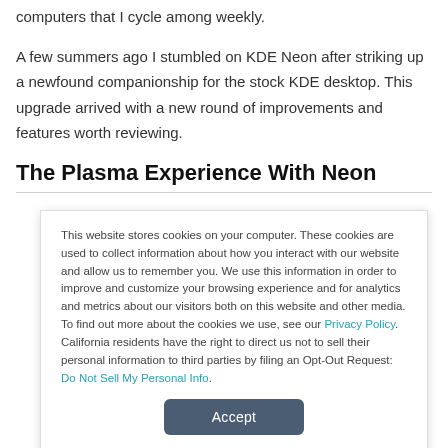computers that I cycle among weekly.
A few summers ago I stumbled on KDE Neon after striking up a newfound companionship for the stock KDE desktop. This upgrade arrived with a new round of improvements and features worth reviewing.
The Plasma Experience With Neon
This website stores cookies on your computer. These cookies are used to collect information about how you interact with our website and allow us to remember you. We use this information in order to improve and customize your browsing experience and for analytics and metrics about our visitors both on this website and other media. To find out more about the cookies we use, see our Privacy Policy. California residents have the right to direct us not to sell their personal information to third parties by filing an Opt-Out Request: Do Not Sell My Personal Info.
Accept